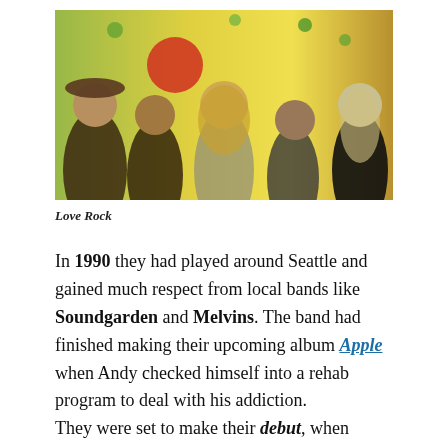[Figure (photo): Band photo of Love Rock: five musicians posing together against a colorful yellow painted backdrop with flowers and a sun. Members include people with long hair, bandanas, and leather jackets.]
Love Rock
In 1990 they had played around Seattle and gained much respect from local bands like Soundgarden and Melvins. The band had finished making their upcoming album Apple when Andy checked himself into a rehab program to deal with his addiction.
They were set to make their debut, when Wood